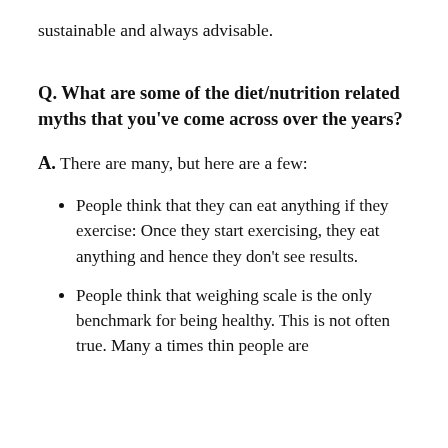sustainable and always advisable.
Q. What are some of the diet/nutrition related myths that you've come across over the years?
A. There are many, but here are a few:
People think that they can eat anything if they exercise: Once they start exercising, they eat anything and hence they don't see results.
People think that weighing scale is the only benchmark for being healthy. This is not often true. Many a times thin people are